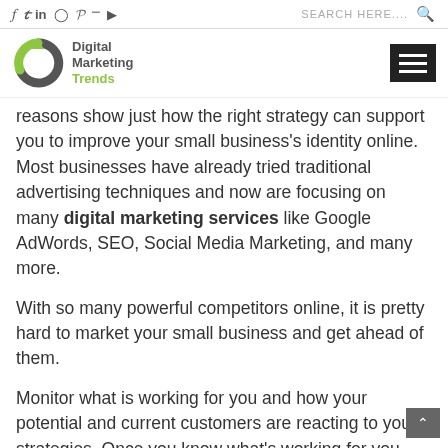f  in  P  SEARCH HERE.... [search icon] [social icons]
[Figure (logo): Digital Marketing Trends logo: circular arrow icon in dark grey and green, with text 'Digital Marketing Trends' beside it. Hamburger menu icon on the right.]
reasons show just how the right strategy can support you to improve your small business's identity online. Most businesses have already tried traditional advertising techniques and now are focusing on many digital marketing services like Google AdWords, SEO, Social Media Marketing, and many more.
With so many powerful competitors online, it is pretty hard to market your small business and get ahead of them.
Monitor what is working for you and how your potential and current customers are reacting to your strategies. Once you know what's working for you,